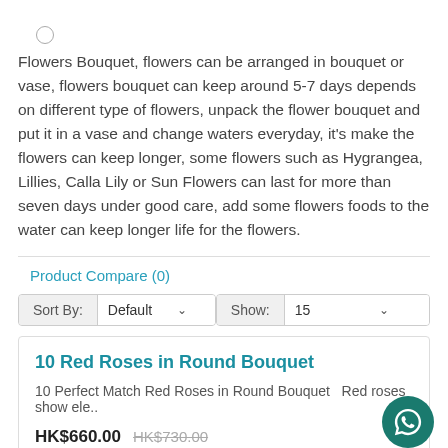Flowers Bouquet, flowers can be arranged in bouquet or vase, flowers bouquet can keep around 5-7 days depends on different type of flowers, unpack the flower bouquet and put it in a vase and change waters everyday, it's make the flowers can keep longer, some flowers such as Hygrangea, Lillies, Calla Lily or Sun Flowers can last for more than seven days under good care, add some flowers foods to the water can keep longer life for the flowers.
Product Compare (0)
Sort By: Default   Show: 15
10 Red Roses in Round Bouquet
10 Perfect Match Red Roses in Round Bouquet   Red roses show ele..
HK$660.00  HK$730.00